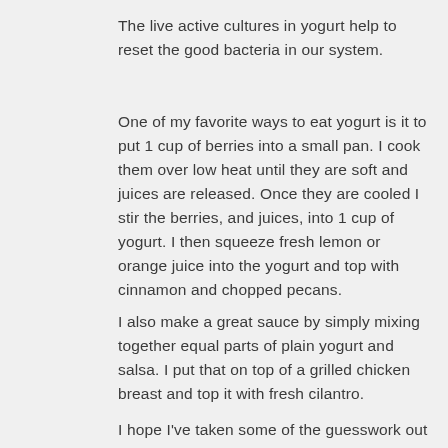The live active cultures in yogurt help to reset the good bacteria in our system.
One of my favorite ways to eat yogurt is it to put 1 cup of berries into a small pan. I cook them over low heat until they are soft and juices are released. Once they are cooled I stir the berries, and juices, into 1 cup of yogurt. I then squeeze fresh lemon or orange juice into the yogurt and top with cinnamon and chopped pecans.
I also make a great sauce by simply mixing together equal parts of plain yogurt and salsa. I put that on top of a grilled chicken breast and top it with fresh cilantro.
I hope I've taken some of the guesswork out of